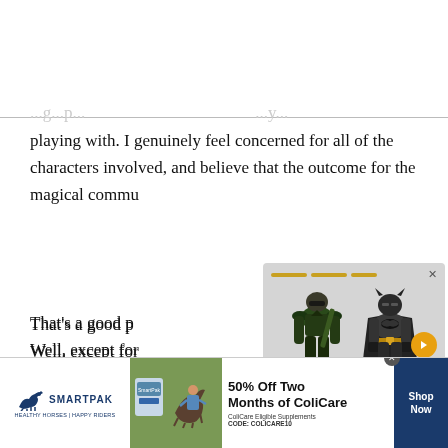playing with. I genuinely feel concerned for all of the characters involved, and believe that the outcome for the magical commu...
That's a good p... Well, except for...
Dan: I'm equally... current arc, and... especially wher... taller than Zatar...
[Figure (photo): Popup overlay showing two action figures: a green-armored character and Batman, displayed against a light gray background. There is a progress bar with orange segments at top, a close X button, and an orange circular next arrow button overlaid on Batman figure.]
[Figure (advertisement): SmartPak advertisement banner at bottom: SmartPak logo on left, product photo of horse and rider in center, text '50% Off Two Months of ColiCare' with 'ColiCare Eligible Supplements CODE: COLICARE10', and a dark blue 'Shop Now' button on right.]